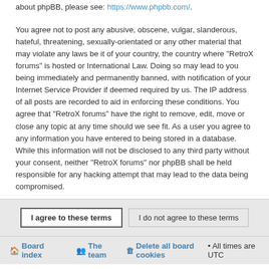about phpBB, please see: https://www.phpbb.com/.
You agree not to post any abusive, obscene, vulgar, slanderous, hateful, threatening, sexually-orientated or any other material that may violate any laws be it of your country, the country where “RetroX forums” is hosted or International Law. Doing so may lead to you being immediately and permanently banned, with notification of your Internet Service Provider if deemed required by us. The IP address of all posts are recorded to aid in enforcing these conditions. You agree that “RetroX forums” have the right to remove, edit, move or close any topic at any time should we see fit. As a user you agree to any information you have entered to being stored in a database. While this information will not be disclosed to any third party without your consent, neither “RetroX forums” nor phpBB shall be held responsible for any hacking attempt that may lead to the data being compromised.
I agree to these terms | I do not agree to these terms
Board index • The team • Delete all board cookies • All times are UTC
Powered by phpBB® Forum Software © phpBB Limited Color scheme created with Colorize It. Style by Arty